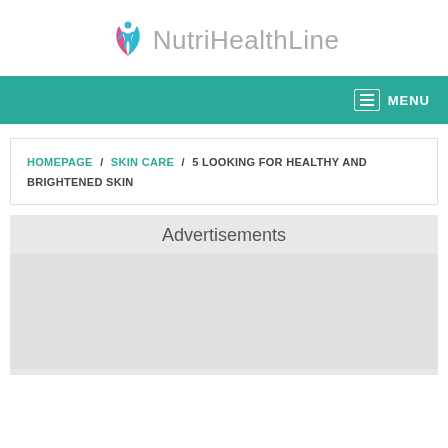[Figure (logo): NutriHealthLine logo with colorful leaf/person icon and gray text]
MENU
HOMEPAGE / SKIN CARE / 5 LOOKING FOR HEALTHY AND BRIGHTENED SKIN
Advertisements